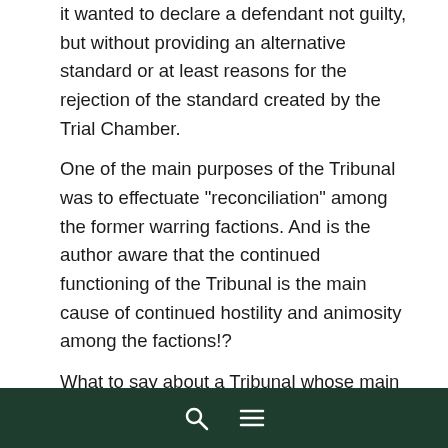it wanted to declare a defendant not guilty, but without providing an alternative standard or at least reasons for the rejection of the standard created by the Trial Chamber.
One of the main purposes of the Tribunal was to effectuate "reconciliation" among the former warring factions. And is the author aware that the continued functioning of the Tribunal is the main cause of continued hostility and animosity among the factions!?
What to say about a Tribunal whose main witnesses in Mladic case were people from NATO, an organisation that got militarily involved against one of the parties to the conflict on more occasions? A member of the United States National Security Agency, seconded to the ICTY